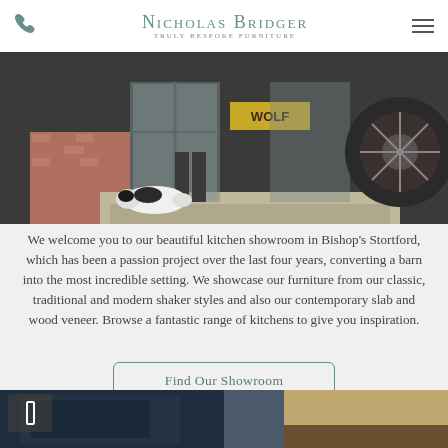Nicholas Bridger — Truly Bespoke Furniture
[Figure (photo): Exterior photo of Nicholas Bridger kitchen showroom with a black and white dog sitting on the stone steps in front of glass doors, a person standing in the doorway, and a vintage car wheel visible on the right.]
We welcome you to our beautiful kitchen showroom in Bishop's Stortford, which has been a passion project over the last four years, converting a barn into the most incredible setting. We showcase our furniture from our classic, traditional and modern shaker styles and also our contemporary slab and wood veneer. Browse a fantastic range of kitchens to give you inspiration.
Find Our Showroom
[Figure (photo): Bottom left: dark navy blue kitchen cabinet detail. Bottom right: light wood countertop or cabinet detail.]